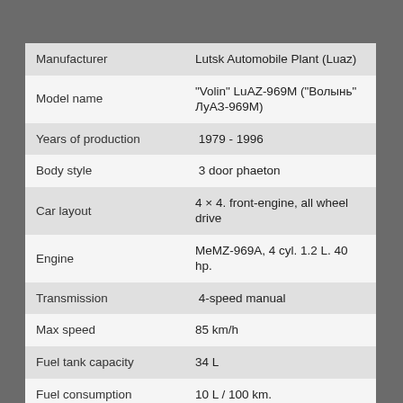| Property | Value |
| --- | --- |
| Manufacturer | Lutsk Automobile Plant (Luaz) |
| Model name | "Volin" LuAZ-969M ("Волынь" ЛуАЗ-969М) |
| Years of production | 1979 - 1996 |
| Body style | 3 door phaeton |
| Car layout | 4 × 4. front-engine, all wheel drive |
| Engine | MeMZ-969A, 4 cyl. 1.2 L. 40 hp. |
| Transmission | 4-speed manual |
| Max speed | 85 km/h |
| Fuel tank capacity | 34 L |
| Fuel consumption | 10 L / 100 km. |
| Dimensions | 3370x1640x1790 mm. |
| Cargo capacity | 400 kg. |
| Curb weight | 970 kg. |